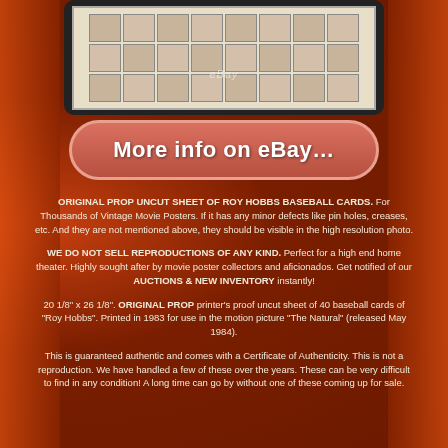[Figure (photo): Partial view of an uncut sheet of Roy Hobbs baseball cards shown in a dark-framed display with eBay watermark]
More info on eBay...
ORIGINAL PROP UNCUT SHEET OF ROY HOBBS BASEBALL CARDS. For Thousands of Vintage Movie Posters. If it has any minor defects like pin holes, creases, etc. And they are not mentioned above, they should be visible in the high resolution photo.
WE DO NOT SELL REPRODUCTIONS OF ANY KIND. Perfect for a high end home theater. Highly sought after by movie poster collectors and aficionados. Get notified of our AUCTIONS & NEW INVENTORY instantly!
20 1/8" x 26 1/8". ORIGINAL PROP printer's proof uncut sheet of 40 baseball cards of "Roy Hobbs". Printed in 1983 for use in the motion picture "The Natural" (released May 1984).
This is guaranteed authentic and comes with a Certificate of Authenticity. This is not a reproduction. We have handled a few of these over the years. These can be very difficult to find in any condition! A long time can go by without one of these coming up for sale.